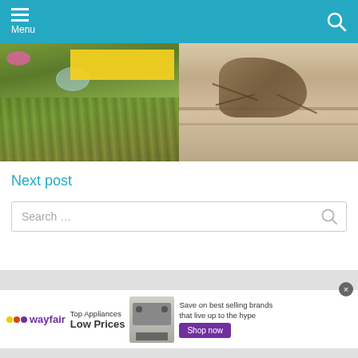Menu
[Figure (photo): Two photos side by side: left shows grass with scattered items including a pink frisbee and a glass bowl; a yellow highlighted banner overlays the top. Right shows a close-up of a grasshopper on a wooden surface.]
Next post
Search ...
[Figure (screenshot): Wayfair advertisement banner: logo with colorful dot, text 'Top Appliances Low Prices', image of a stove/range, text 'Save on best selling brands that live up to the hype', purple 'Shop now' button. Close button (x) in top right.]